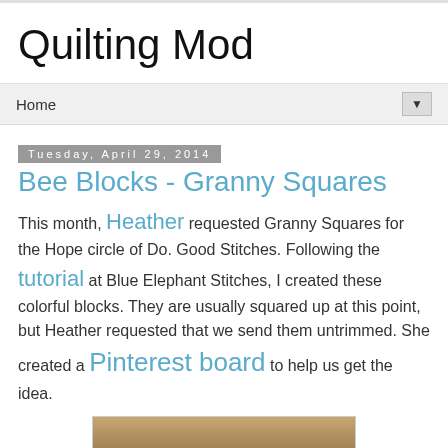Quilting Mod
Home
Tuesday, April 29, 2014
Bee Blocks - Granny Squares
This month, Heather requested Granny Squares for the Hope circle of Do. Good Stitches. Following the tutorial at Blue Elephant Stitches, I created these colorful blocks. They are usually squared up at this point, but Heather requested that we send them untrimmed. She created a Pinterest board to help us get the idea.
[Figure (photo): Bottom portion of a photo showing a quilted granny square block]